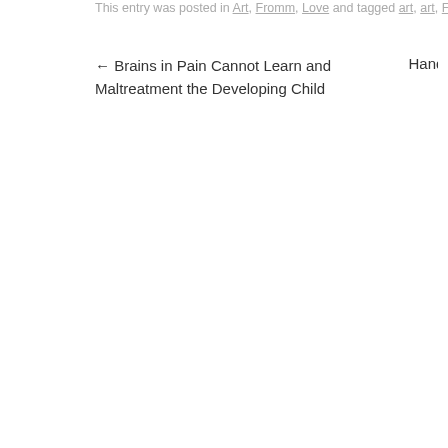This entry was posted in Art, Fromm, Love and tagged art, art, Fromm, love,
← Brains in Pain Cannot Learn and Maltreatment the Developing Child
Handb